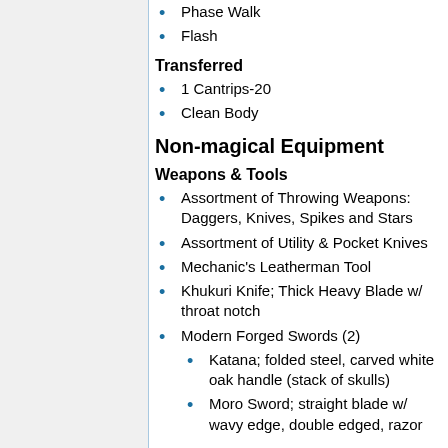Phase Walk
Flash
Transferred
1 Cantrips-20
Clean Body
Non-magical Equipment
Weapons & Tools
Assortment of Throwing Weapons: Daggers, Knives, Spikes and Stars
Assortment of Utility & Pocket Knives
Mechanic's Leatherman Tool
Khukuri Knife; Thick Heavy Blade w/ throat notch
Modern Forged Swords (2)
Katana; folded steel, carved white oak handle (stack of skulls)
Moro Sword; straight blade w/ wavy edge, double edged, razor